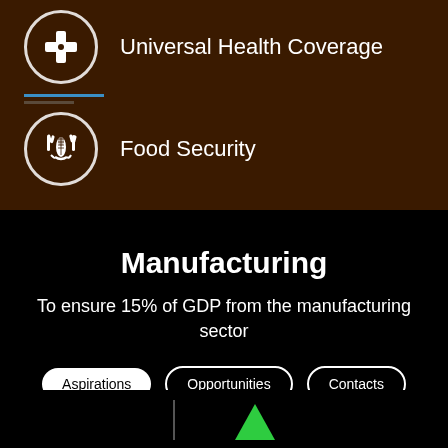[Figure (infographic): Icon circle with medical cross/health symbol for Universal Health Coverage]
Universal Health Coverage
[Figure (infographic): Icon circle with food/agriculture symbol for Food Security]
Food Security
Manufacturing
To ensure 15% of GDP from the manufacturing sector
Aspirations
Opportunities
Contacts